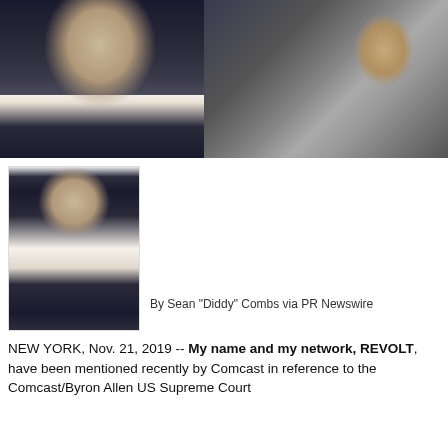[Figure (photo): Two photos side by side: left shows a man in a dark vest and white shirt with dark tie against white background; right shows a person being interviewed with microphones at an outdoor event]
[Figure (photo): Smaller photo of man in dark vest and white shirt with dark tie against light background]
By Sean "Diddy" Combs via PR Newswire
NEW YORK, Nov. 21, 2019 -- My name and my network, REVOLT, have been mentioned recently by Comcast in reference to the Comcast/Byron Allen US Supreme Court